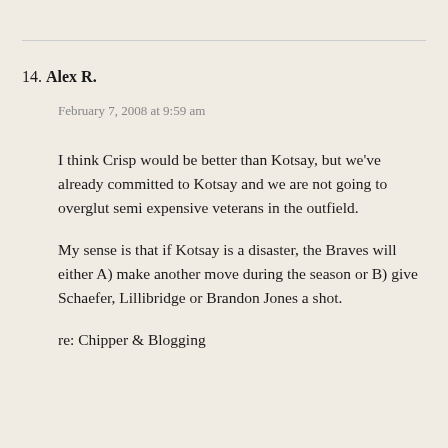14. Alex R.
February 7, 2008 at 9:59 am
I think Crisp would be better than Kotsay, but we've already committed to Kotsay and we are not going to overglut semi expensive veterans in the outfield.
My sense is that if Kotsay is a disaster, the Braves will either A) make another move during the season or B) give Schaefer, Lillibridge or Brandon Jones a shot.
re: Chipper & Blogging